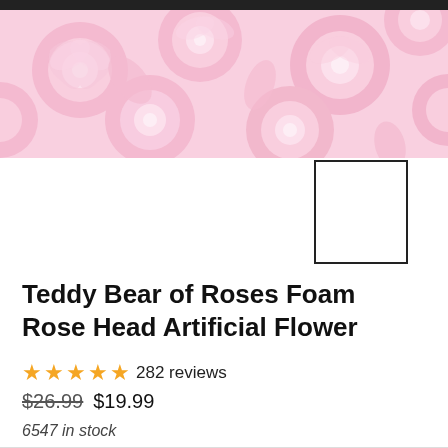[Figure (photo): Banner image showing many light pink foam roses packed together, viewed from above.]
[Figure (photo): Small white thumbnail box with black border, showing a variant image placeholder.]
Teddy Bear of Roses Foam Rose Head Artificial Flower
★★★★★ 282 reviews
$26.99  $19.99
6547 in stock